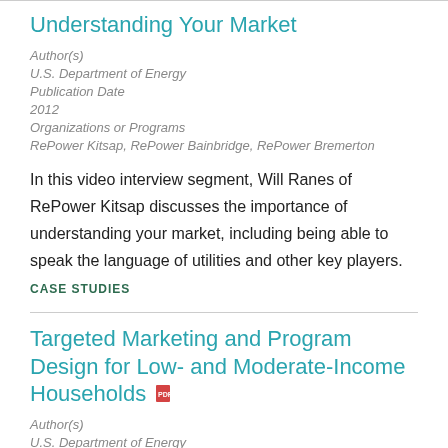Understanding Your Market
Author(s)
U.S. Department of Energy
Publication Date
2012
Organizations or Programs
RePower Kitsap, RePower Bainbridge, RePower Bremerton
In this video interview segment, Will Ranes of RePower Kitsap discusses the importance of understanding your market, including being able to speak the language of utilities and other key players.
CASE STUDIES
Targeted Marketing and Program Design for Low- and Moderate-Income Households
Author(s)
U.S. Department of Energy
Publication Date
2011